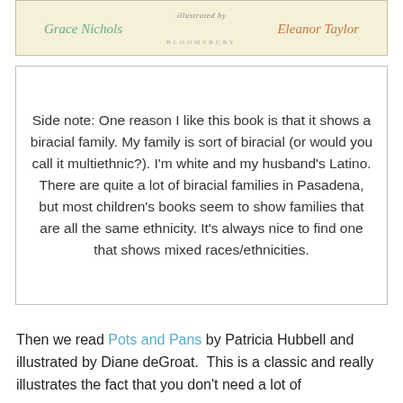[Figure (illustration): Partial book cover showing author name Grace Nichols and illustrator Eleanor Taylor, with Bloomsbury publisher text, light beige background]
Side note: One reason I like this book is that it shows a biracial family. My family is sort of biracial (or would you call it multiethnic?). I'm white and my husband's Latino. There are quite a lot of biracial families in Pasadena, but most children's books seem to show families that are all the same ethnicity. It's always nice to find one that shows mixed races/ethnicities.
Then we read Pots and Pans by Patricia Hubbell and illustrated by Diane deGroat.  This is a classic and really illustrates the fact that you don't need a lot of